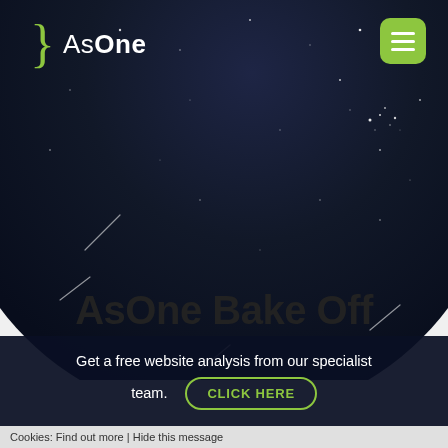[Figure (screenshot): AsOne website screenshot with dark circular starry night sky background, white logo with green curly brace on top left, green hamburger menu button on top right]
AsOne Bake Off
Get a free website analysis from our specialist team.
CLICK HERE
Cookies: Find out more | Hide this message